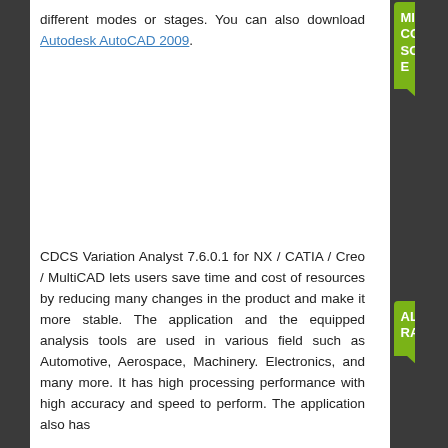different modes or stages. You can also download Autodesk AutoCAD 2009.
CDCS Variation Analyst 7.6.0.1 for NX / CATIA / Creo / MultiCAD lets users save time and cost of resources by reducing many changes in the product and make it more stable. The application and the equipped analysis tools are used in various field such as Automotive, Aerospace, Machinery. Electronics, and many more. It has high processing performance with high accuracy and speed to perform. The application also has
[Figure (other): Green badge with text 'MISS COOL SOFTWARE' with pointed bottom]
[Figure (other): Green badge with text 'ALEXA RANK' with pointed bottom]